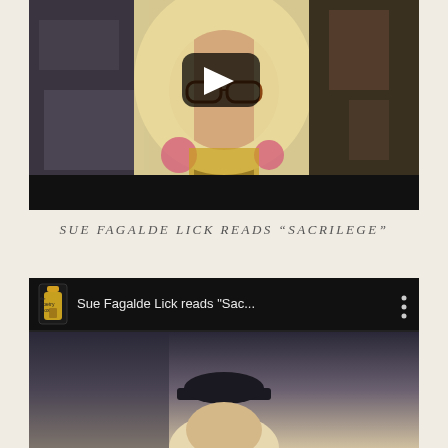[Figure (screenshot): YouTube video thumbnail showing a blond woman with glasses and tattoos, sitting in a kitchen setting. A large YouTube play button overlay is visible. The video player has a black bottom bar.]
SUE FAGALDE LICK READS “SACRILEGE”
[Figure (screenshot): YouTube video embed showing 'Sue Fagalde Lick reads "Sac..."' with The Poetry Box logo on the left and three vertical dots menu on the right. Below is a partial view of a person wearing a dark hat.]